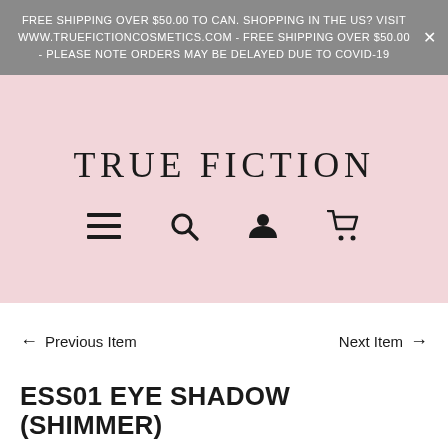FREE SHIPPING OVER $50.00 TO CAN. SHOPPING IN THE US? VISIT WWW.TRUEFICTIONCOSMETICS.COM - FREE SHIPPING OVER $50.00 - PLEASE NOTE ORDERS MAY BE DELAYED DUE TO COVID-19
TRUE FICTION
[Figure (infographic): Navigation icons row: hamburger menu, search magnifier, user account silhouette, shopping cart]
← Previous Item   Next Item →
ESS01 EYE SHADOW (SHIMMER)